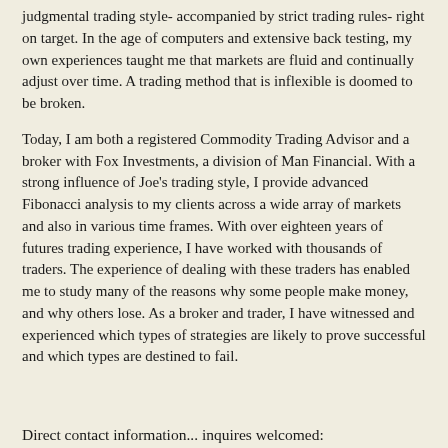judgmental trading style- accompanied by strict trading rules- right on target. In the age of computers and extensive back testing, my own experiences taught me that markets are fluid and continually adjust over time. A trading method that is inflexible is doomed to be broken.
Today, I am both a registered Commodity Trading Advisor and a broker with Fox Investments, a division of Man Financial. With a strong influence of Joe's trading style, I provide advanced Fibonacci analysis to my clients across a wide array of markets and also in various time frames. With over eighteen years of futures trading experience, I have worked with thousands of traders. The experience of dealing with these traders has enabled me to study many of the reasons why some people make money, and why others lose. As a broker and trader, I have witnessed and experienced which types of strategies are likely to prove successful and which types are destined to fail.
Direct contact information... inquires welcomed:
1-800-281-3654
kevin@fibtrader.com